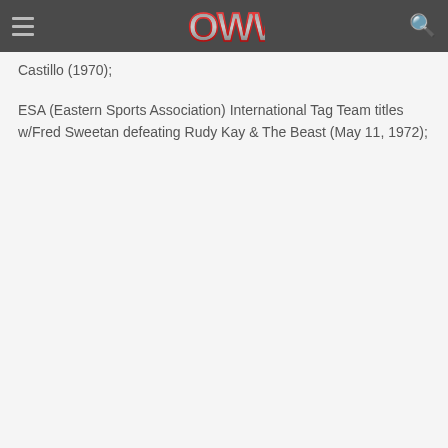OWW navigation header
Castillo (1970);
ESA (Eastern Sports Association) International Tag Team titles w/Fred Sweetan defeating Rudy Kay & The Beast (May 11, 1972);